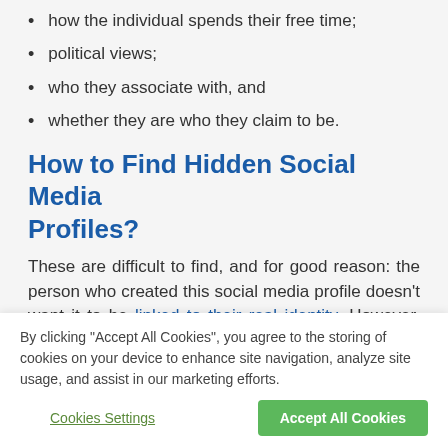how the individual spends their free time;
political views;
who they associate with, and
whether they are who they claim to be.
How to Find Hidden Social Media Profiles?
These are difficult to find, and for good reason: the person who created this social media profile doesn't want it to be linked to their real identity. However, there are some ways to unearth such a profile.
By clicking “Accept All Cookies”, you agree to the storing of cookies on your device to enhance site navigation, analyze site usage, and assist in our marketing efforts.